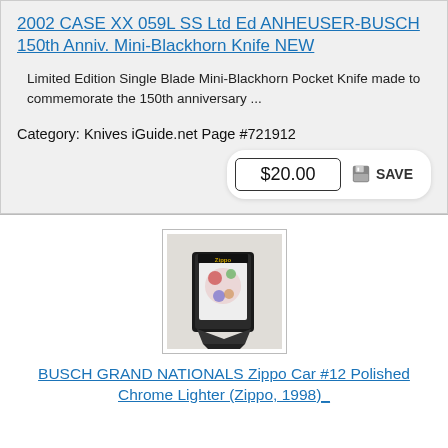2002 CASE XX 059L SS Ltd Ed ANHEUSER-BUSCH 150th Anniv. Mini-Blackhorn Knife NEW
Limited Edition Single Blade Mini-Blackhorn Pocket Knife made to commemorate the 150th anniversary ...
Category: Knives iGuide.net Page #721912
$20.00
[Figure (photo): Photo of a Zippo lighter with decorative design, shown in its open display case/stand, displayed at an angle]
BUSCH GRAND NATIONALS Zippo Car #12 Polished Chrome Lighter (Zippo, 1998)_